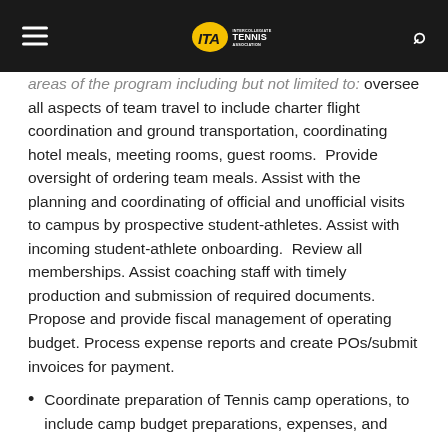ITA Intercollegiate Tennis Association
areas of the program including but not limited to: oversee all aspects of team travel to include charter flight coordination and ground transportation, coordinating hotel meals, meeting rooms, guest rooms. Provide oversight of ordering team meals. Assist with the planning and coordinating of official and unofficial visits to campus by prospective student-athletes. Assist with incoming student-athlete onboarding. Review all memberships. Assist coaching staff with timely production and submission of required documents. Propose and provide fiscal management of operating budget. Process expense reports and create POs/submit invoices for payment.
Coordinate preparation of Tennis camp operations, to include camp budget preparations, expenses, and ...